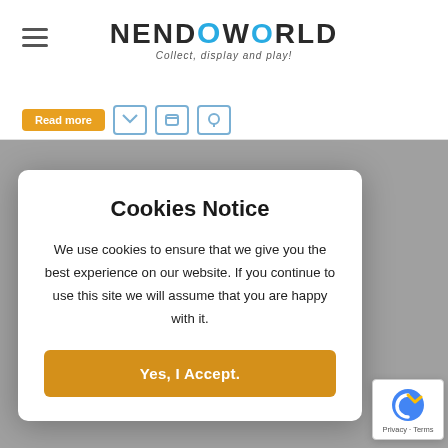NENDOWORLD — Collect, display and play!
Read more
[Figure (photo): Nendoroid anime figurine of a girl with brown hair, wearing a pink and black outfit, photographed against a grey background]
Cookies Notice
We use cookies to ensure that we give you the best experience on our website. If you continue to use this site we will assume that you are happy with it.
Yes, I Accept.